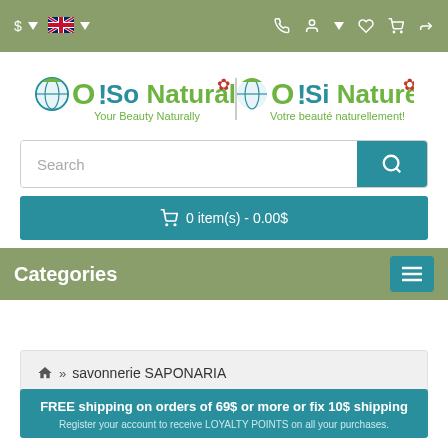$ | [flag] | [phone] [account] [wishlist] [cart] [share]
[Figure (logo): O! So Natural / O! Si Naturel logo with maple leaf, taglines: Your Beauty Naturally / Votre beauté naturellement!]
Search
0 item(s) - 0.00$
Categories
🏠 » savonnerie SAPONARIA
FREE shipping on orders of 69$ or more or fix 10$ shipping
Register your account to receive LOYALTY POINTS on all your purchases.